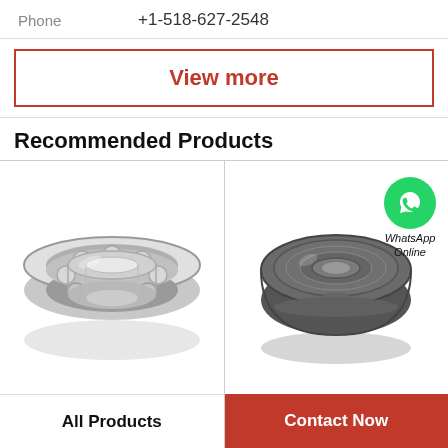Phone    +1-518-627-2548
View more
Recommended Products
[Figure (photo): Open ball bearing (silver/chrome), angled view showing inner ring, outer ring, and balls]
[Figure (photo): Shielded ball bearing (dark gray), angled view with WhatsApp Online overlay icon in top right]
All Products
Contact Now